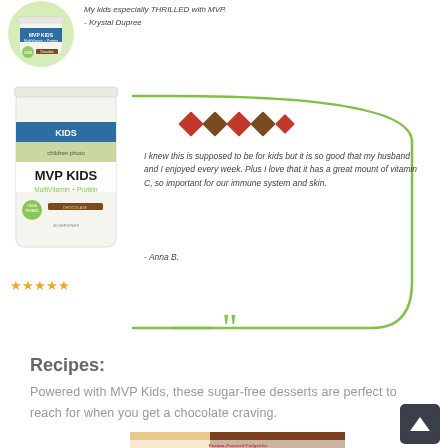[Figure (photo): MVP Kids Multivitamin + Protein product tub (partially visible at top)]
My kids especially THRILLED with MVP.
- Krystal Dupree
[Figure (photo): MVP Kids Multivitamin + Protein product tub with green and blue label]
★★★★★
I knew this is supposed to be for kids but it is so good that my husband and I enjoyed every week. Plus I love that it has a great mount of vitamin C, so important for our immune system and skin.
- Anna B.
Recipes:
Powered with MVP Kids, these sugar-free desserts are perfect to reach for when you get a chocolate craving.
[Figure (photo): Chocolate fudgsicles/popsicles photo with text overlay 'Purium-Powered Fudgsicles' and 'Courtesy @www.louismarks']